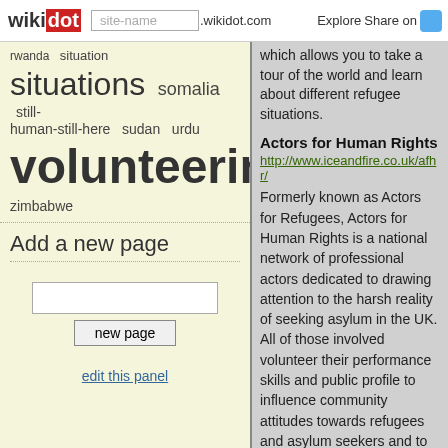wiki dot | site-name .wikidot.com | Explore Share on
rwanda situation situations somalia still-human-still-here sudan urdu volunteering zimbabwe
Add a new page
new page
edit this panel
which allows you to take a tour of the world and learn about different refugee situations.
Actors for Human Rights
http://www.iceandfire.co.uk/afhr/
Formerly known as Actors for Refugees, Actors for Human Rights is a national network of professional actors dedicated to drawing attention to the harsh reality of seeking asylum in the UK. All of those involved volunteer their performance skills and public profile to influence community attitudes towards refugees and asylum seekers and to encourage a humanitarian response to their situation. Since launching in June 2006, their documentary play Asylum Monologues,